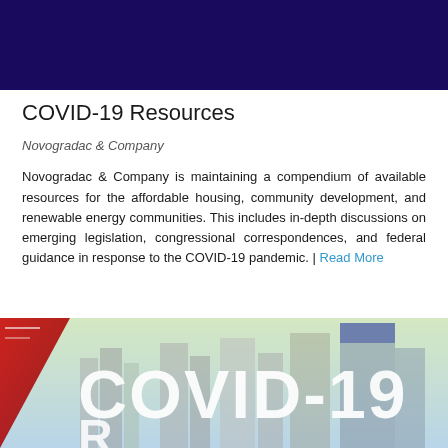[Figure (illustration): Dark navy/purple banner header at top of page]
COVID-19 Resources
Novogradac & Company
Novogradac & Company is maintaining a compendium of available resources for the affordable housing, community development, and renewable energy communities. This includes in-depth discussions on emerging legislation, congressional correspondences, and federal guidance in response to the COVID-19 pandemic. | Read More
[Figure (photo): COVID-19 banner image showing city skyline with large COVID-19 text overlay]